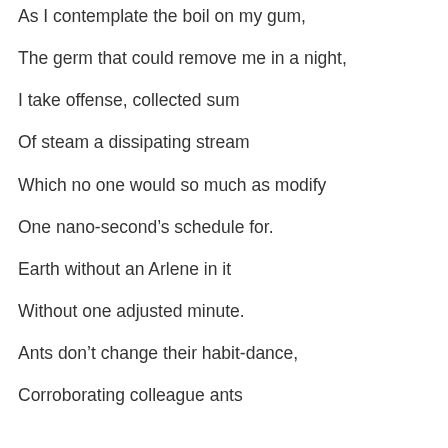As I contemplate the boil on my gum,
The germ that could remove me in a night,
I take offense, collected sum
Of steam a dissipating stream
Which no one would so much as modify
One nano-second’s schedule for.
Earth without an Arlene in it
Without one adjusted minute.
Ants don’t change their habit-dance,
Corroborating colleague ants